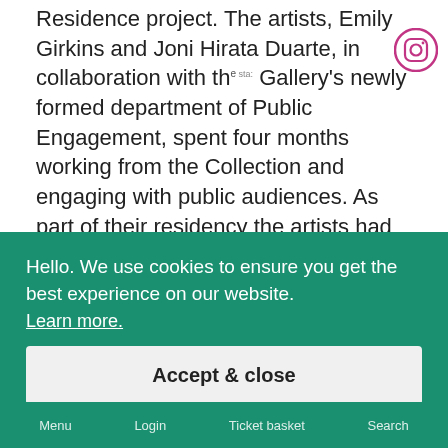Residence project. The artists, Emily Girkins and Joni Hirata Duarte, in collaboration with the Gallery's newly formed department of Public Engagement, spent four months working from the Collection and engaging with public audiences. As part of their residency the artists had the opportunity to work with Gallery staff to develop workshops, demonstrations and a video series on the creative process of the artist. Emily Girkins helped run a three – day intensive Masterclass for teenagers and young adults which introduced students to Van Dyck's work and explored portrait painting. Joni Hirata Duarte, along with Ann Whiteridge, led a portrait demonstration
[Figure (other): Instagram icon (circular logo) in top right corner]
Hello. We use cookies to ensure you get the best experience on our website.
Learn more.
Accept & close
Menu   Login   Ticket basket   Search